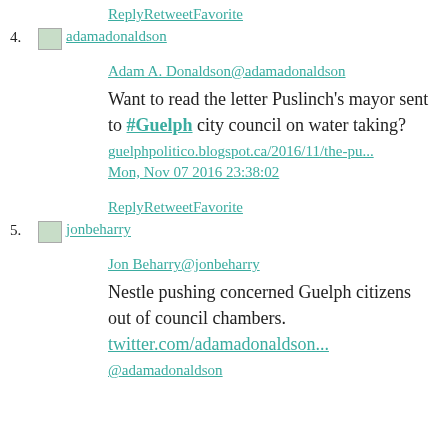ReplyRetweetFavorite
4. adamadonaldson
Adam A. Donaldson@adamadonaldson
Want to read the letter Puslinch's mayor sent to #Guelph city council on water taking?
guelphpolitico.blogspot.ca/2016/11/the-pu...
Mon, Nov 07 2016 23:38:02
ReplyRetweetFavorite
5. jonbeharry
Jon Beharry@jonbeharry
Nestle pushing concerned Guelph citizens out of council chambers. twitter.com/adamadonaldson... @adamadonaldson